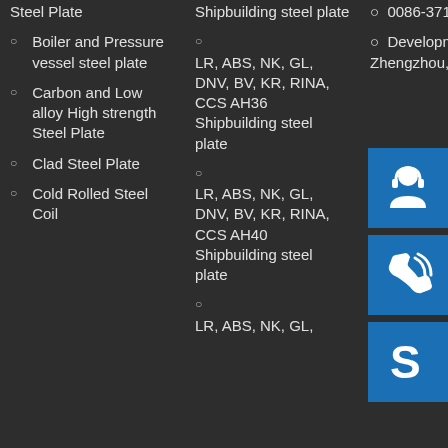Steel Plate
Boiler and Pressure vessel steel plate
Carbon and Low alloy High strength Steel Plate
Clad Steel Plate
Cold Rolled Steel Coil
Shipbuilding steel plate
LR, ABS, NK, GL, DNV, BV, KR, RINA, CCS AH36 Shipbuilding steel plate
LR, ABS, NK, GL, DNV, BV, KR, RINA, CCS AH40 Shipbuilding steel plate
LR, ABS, NK, GL
0086-371-86151827
Development Zone, Zhengzhou, Ch...
[Figure (illustration): Blue box with white headset/customer support icon]
[Figure (illustration): Blue box with white phone/call icon]
[Figure (illustration): Blue box with white Skype logo icon]